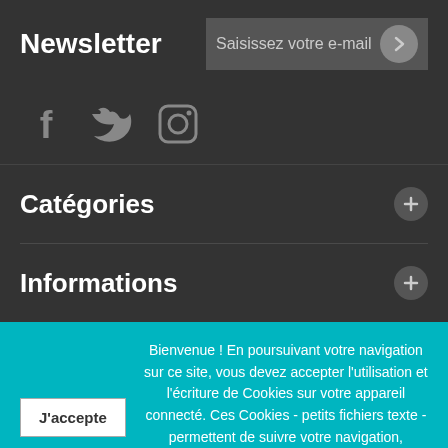Newsletter
Saisissez votre e-mail
[Figure (illustration): Social media icons: Facebook, Twitter, Instagram]
Catégories
Informations
Bienvenue ! En poursuivant votre navigation sur ce site, vous devez accepter l'utilisation et l'écriture de Cookies sur votre appareil connecté. Ces Cookies - petits fichiers texte - permettent de suivre votre navigation, actualiser votre panier, vous reconnaitre lors de votre prochaine visite et sécuriser votre connexion. Pour en savoir plus et paramétrer les traceurs: http://www.cnil.fr/vos-obligations/sites-web-cookies-et-autres-traceurs/que-dit-la-loi/
J'accepte